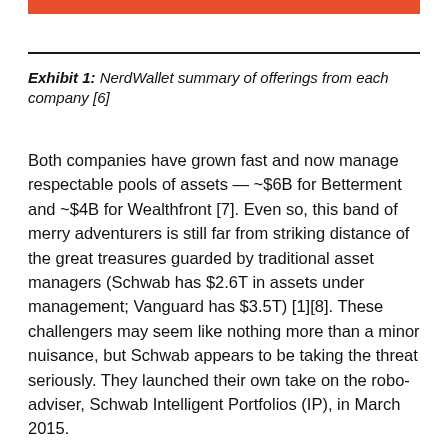Exhibit 1: NerdWallet summary of offerings from each company [6]
Both companies have grown fast and now manage respectable pools of assets — ~$6B for Betterment and ~$4B for Wealthfront [7]. Even so, this band of merry adventurers is still far from striking distance of the great treasures guarded by traditional asset managers (Schwab has $2.6T in assets under management; Vanguard has $3.5T) [1][8]. These challengers may seem like nothing more than a minor nuisance, but Schwab appears to be taking the threat seriously. They launched their own take on the robo-adviser, Schwab Intelligent Portfolios (IP), in March 2015.